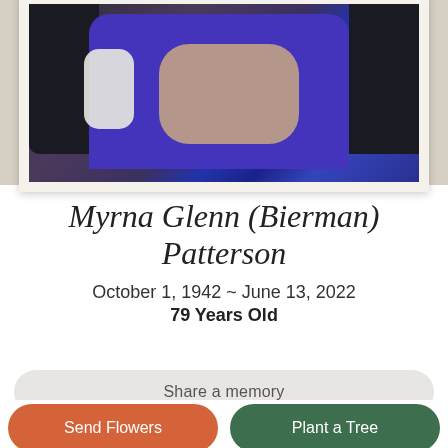[Figure (photo): Photo of Myrna Glenn (Bierman) Patterson, showing a person in a purple fleece jacket holding a small black and white dog, surrounded by people in dark coats. The photo is framed with a white/cream border and displayed against a gray background.]
Myrna Glenn (Bierman) Patterson
October 1, 1942 ~ June 13, 2022
79 Years Old
Share a memory
Send Flowers
Plant a Tree